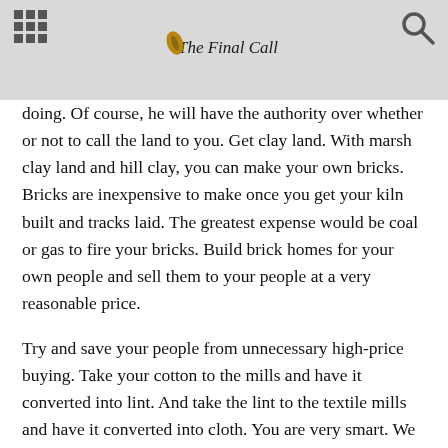The Final Call
doing. Of course, he will have the authority over whether or not to call the land to you. Get clay land. With marsh clay land and hill clay, you can make your own bricks. Bricks are inexpensive to make once you get your kiln built and tracks laid. The greatest expense would be coal or gas to fire your bricks. Build brick homes for your own people and sell them to your people at a very reasonable price.
Try and save your people from unnecessary high-price buying. Take your cotton to the mills and have it converted into lint. And take the lint to the textile mills and have it converted into cloth. You are very smart. We have many technicians among us who are about as smart as they come. Why shouldn't we get together and produce something for ourselves?
Ask the government to help us go for ourselves. And if the government will not help us, although we and our fathers have been loyal and helped them to become and remain independent, then appeal to your own people to allow you to move in among them. I am sure that if you are a Muslim you can find a place anywhere on the